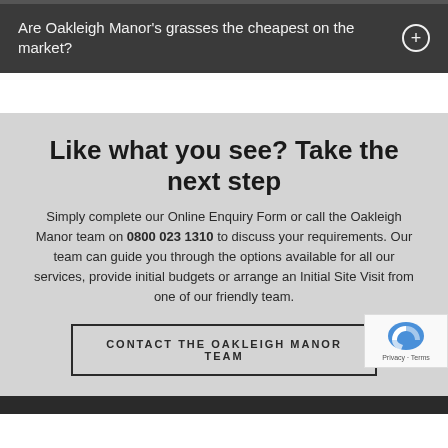Are Oakleigh Manor's grasses the cheapest on the market?
Like what you see? Take the next step
Simply complete our Online Enquiry Form or call the Oakleigh Manor team on 0800 023 1310 to discuss your requirements. Our team can guide you through the options available for all our services, provide initial budgets or arrange an Initial Site Visit from one of our friendly team.
CONTACT THE OAKLEIGH MANOR TEAM